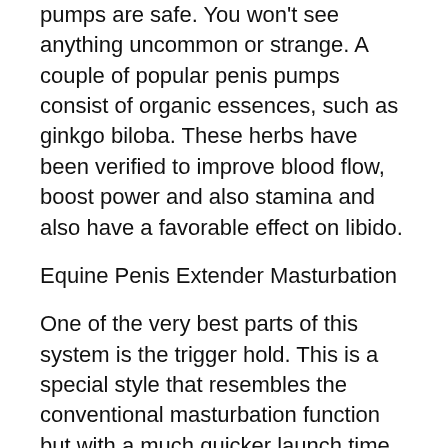pumps are safe. You won't see anything uncommon or strange. A couple of popular penis pumps consist of organic essences, such as ginkgo biloba. These herbs have been verified to improve blood flow, boost power and also stamina and also have a favorable effect on libido.
Equine Penis Extender Masturbation
One of the very best parts of this system is the trigger hold. This is a special style that resembles the conventional masturbation function but with a much quicker launch time. This leads to a much more intense orgasm and will help a guy to achieve a new erection whenever he needs one. This is just one of the largest problems concerning penis